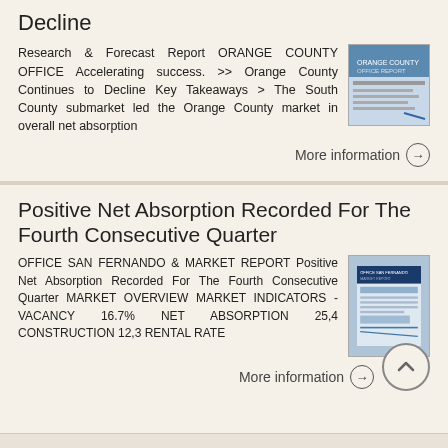Decline
Research & Forecast Report ORANGE COUNTY OFFICE Accelerating success. >> Orange County Continues to Decline Key Takeaways > The South County submarket led the Orange County market in overall net absorption
[Figure (photo): Thumbnail image of Orange County office report cover]
More information →
Positive Net Absorption Recorded For The Fourth Consecutive Quarter
OFFICE SAN FERNANDO & MARKET REPORT Positive Net Absorption Recorded For The Fourth Consecutive Quarter MARKET OVERVIEW MARKET INDICATORS - VACANCY 16.7% NET ABSORPTION 25,4 CONSTRUCTION 12,3 RENTAL RATE
[Figure (photo): Thumbnail image of Office San Fernando market report cover]
More information →